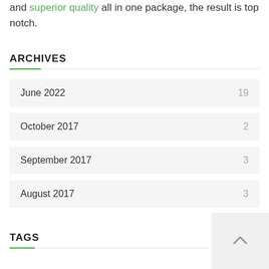and superior quality all in one package, the result is top notch.
ARCHIVES
June 2022   19
October 2017   2
September 2017   3
August 2017   3
TAGS